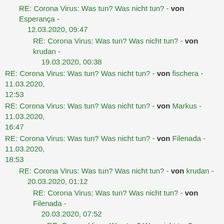RE: Corona Virus: Was tun? Was nicht tun? - von Esperança - 12.03.2020, 09:47
RE: Corona Virus: Was tun? Was nicht tun? - von krudan - 19.03.2020, 00:38
RE: Corona Virus: Was tun? Was nicht tun? - von fischera - 11.03.2020, 12:53
RE: Corona Virus: Was tun? Was nicht tun? - von Markus - 11.03.2020, 16:47
RE: Corona Virus: Was tun? Was nicht tun? - von Filenada - 11.03.2020, 18:53
RE: Corona Virus: Was tun? Was nicht tun? - von krudan - 20.03.2020, 01:12
RE: Corona Virus: Was tun? Was nicht tun? - von Filenada - 20.03.2020, 07:52
RE: Corona Virus: Was tun? Was nicht tun? - von krudan - 20.03.2020, 17:57
RE: Corona Virus: Was tun? Was nicht tun? - von Filenada - 30.04.2020, 20:06
RE: Corona Virus: Was tun? Was nicht tun? - von Pandabär - 11.03.2020, 19:49
RE: Corona Virus: Was tun? Was nicht tun? - von Filenada - 11.03.2020, 22:54
RE: Corona Virus: Was tun? Was nicht tun? - von Towanda - 11.03.2020,